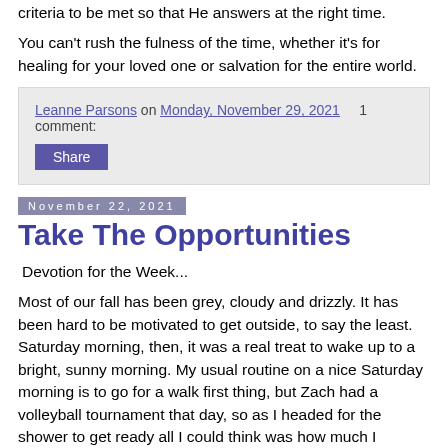criteria to be met so that He answers at the right time.
You can't rush the fulness of the time, whether it's for healing for your loved one or salvation for the entire world.
Leanne Parsons on Monday, November 29, 2021   1 comment:
Share
November 22, 2021
Take The Opportunities
Devotion for the Week...
Most of our fall has been grey, cloudy and drizzly. It has been hard to be motivated to get outside, to say the least. Saturday morning, then, it was a real treat to wake up to a bright, sunny morning. My usual routine on a nice Saturday morning is to go for a walk first thing, but Zach had a volleyball tournament that day, so as I headed for the shower to get ready all I could think was how much I wanted to be